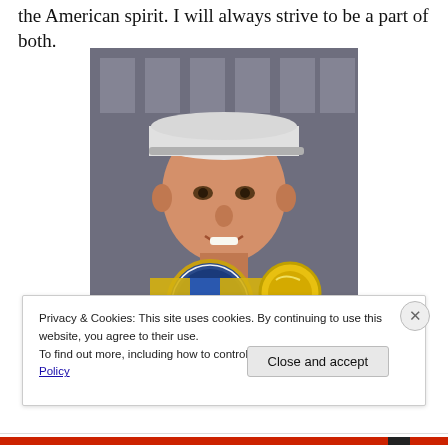the American spirit. I will always strive to be a part of both.
[Figure (photo): A man wearing a white baseball cap and Boston Athletic Association medal/medallion around his neck, smiling at the camera in front of a building. He appears to be a marathon runner.]
Privacy & Cookies: This site uses cookies. By continuing to use this website, you agree to their use.
To find out more, including how to control cookies, see here: Cookie Policy
Close and accept